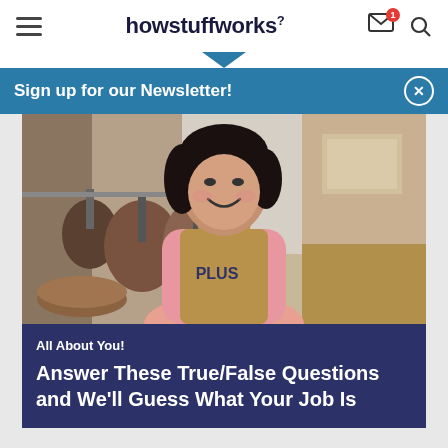howstuffworks
Sign up for our Newsletter!
[Figure (photo): A smiling woman wearing a pink t-shirt and tan apron standing in a kitchen with copper pots and pans hanging in the background]
All About You!
Answer These True/False Questions and We'll Guess What Your Job Is